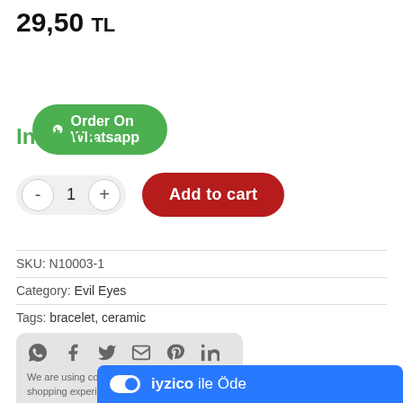29,50 TL
Order On Whatsapp
In stock
- 1 +
Add to cart
SKU: N10003-1
Category: Evil Eyes
Tags: bracelet, ceramic
[Figure (screenshot): Social share icons row: WhatsApp, Facebook, Twitter, Email, Pinterest, LinkedIn]
We are using cookies for a better online shopping experience. More.
[Figure (screenshot): iyzico ile Öde payment bar in blue]